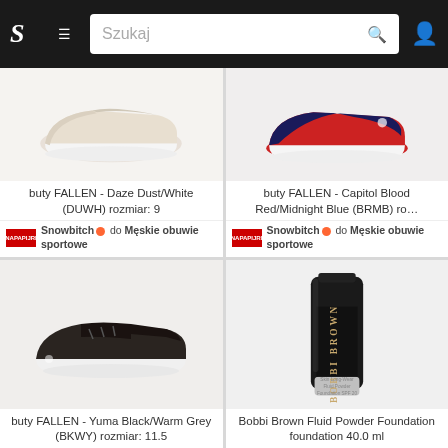S | ≡ | Szukaj | 🔍 | 👤
[Figure (photo): Beige/white Fallen skate shoe - Daze Dust/White]
buty FALLEN - Daze Dust/White (DUWH) rozmiar: 9
Snowbitch 🔴 do Męskie obuwie sportowe
[Figure (photo): Red and navy blue Fallen skate shoe - Capitol Blood Red/Midnight Blue]
buty FALLEN - Capitol Blood Red/Midnight Blue (BRMB) ro…
Snowbitch 🔴 do Męskie obuwie sportowe
[Figure (photo): Dark brown/black Fallen shoe - Yuma Black/Warm Grey]
buty FALLEN - Yuma Black/Warm Grey (BKWY) rozmiar: 11.5
[Figure (photo): Bobbi Brown Fluid Powder Foundation 40.0 ml black tube]
Bobbi Brown Fluid Powder Foundation foundation 40.0 ml